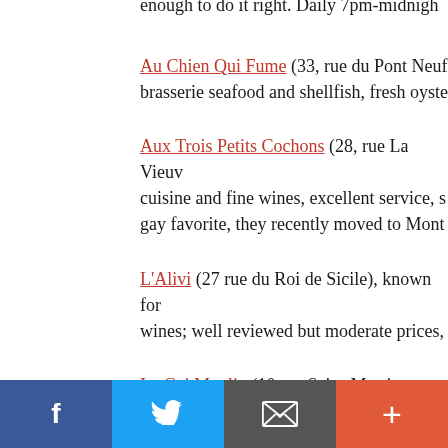enough to do it right. Daily 7pm-midnight
Au Chien Qui Fume (33, rue du Pont Neuf) brasserie seafood and shellfish, fresh oyste...
Aux Trois Petits Cochons (28, rue La Vieux...) cuisine and fine wines, excellent service, s... gay favorite, they recently moved to Mont...
L'Alivi (27 rue du Roi de Sicile), known for... wines; well reviewed but moderate prices,
Le Gai Moulin (10 rue Saint-Merri, Marais...) cuisine; engaging host sometimes plays th...
Les Affranchis (5 rue Henri Monnier, Anve...